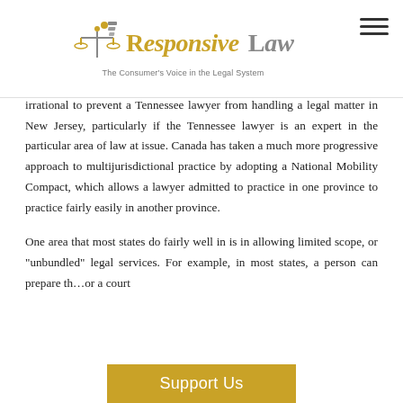Responsive Law — The Consumer's Voice in the Legal System
irrational to prevent a Tennessee lawyer from handling a legal matter in New Jersey, particularly if the Tennessee lawyer is an expert in the particular area of law at issue. Canada has taken a much more progressive approach to multijurisdictional practice by adopting a National Mobility Compact, which allows a lawyer admitted to practice in one province to practice fairly easily in another province.

One area that most states do fairly well in is in allowing limited scope, or 'unbundled' legal services. For example, in most states, a person can prepare th…or a court
[Figure (other): Support Us button/banner overlay at bottom of page]